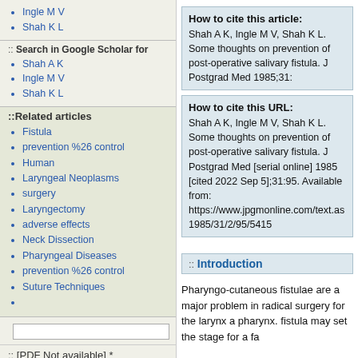Ingle M V
Shah K L
:: Search in Google Scholar for
Shah A K
Ingle M V
Shah K L
::Related articles
Fistula
prevention %26 control
Human
Laryngeal Neoplasms
surgery
Laryngectomy
adverse effects
Neck Dissection
Pharyngeal Diseases
prevention %26 control
Suture Techniques
:: [PDF Not available] *
:: Citation Manager
:: Access Statistics
:: Reader Comments
:: Email Alert *
How to cite this article:
Shah A K, Ingle M V, Shah K L. Some thoughts on prevention of post-operative salivary fistula. J Postgrad Med 1985;31:
How to cite this URL:
Shah A K, Ingle M V, Shah K L. Some thoughts on prevention of post-operative salivary fistula. J Postgrad Med [serial online] 1985 [cited 2022 Sep 5];31:95. Available from: https://www.jpgmonline.com/text.as 1985/31/2/95/5415
:: Introduction
Pharyngo-cutaneous fistulae are a major problem in radical surgery for the larynx a pharynx. fistula may set the stage for a fa